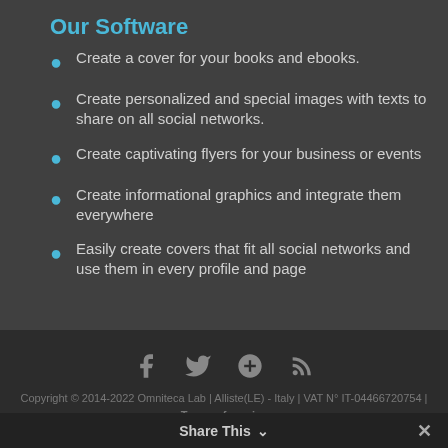Our Software
Create a cover for your books and ebooks.
Create personalized and special images with texts to share on all social networks.
Create captivating flyers for your business or events
Create informational graphics and integrate them everywhere
Easily create covers that fit all social networks and use them in every profile and page
Copyright © 2014-2022 Omniteca Lab | Alliste(LE) - Italy | VAT N° IT-04466720754 | Terms of service
Share This